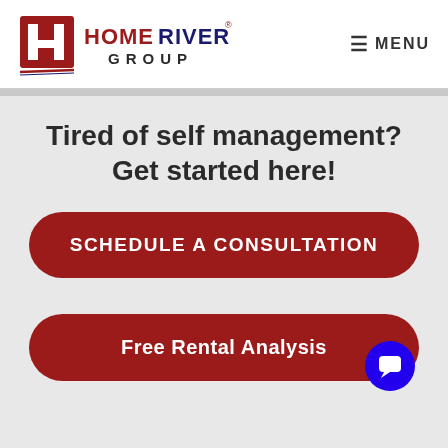[Figure (logo): HomeRiver Group logo with red H icon and stylized text]
≡ MENU
Tired of self management? Get started here!
SCHEDULE A CONSULTATION
Free Rental Analysis